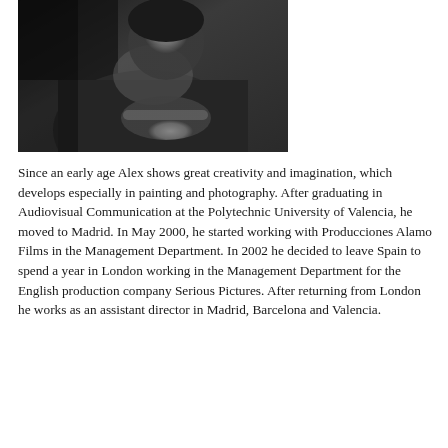[Figure (photo): Black and white photograph of a man (Alex), seated, with hands clasped together in front of him, looking downward or to the side. The image is cropped at the top and sides.]
Since an early age Alex shows great creativity and imagination, which develops especially in painting and photography. After graduating in Audiovisual Communication at the Polytechnic University of Valencia, he moved to Madrid. In May 2000, he started working with Producciones Alamo Films in the Management Department. In 2002 he decided to leave Spain to spend a year in London working in the Management Department for the English production company Serious Pictures. After returning from London he works as an assistant director in Madrid, Barcelona and Valencia.